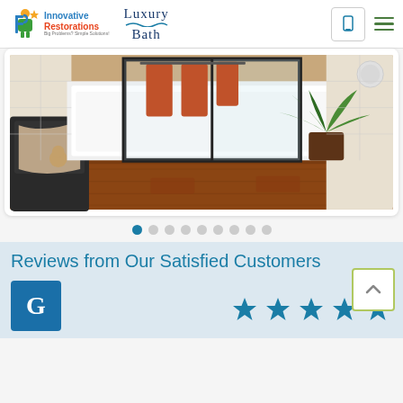[Figure (logo): Innovative Restorations logo with green/orange icon and text, plus Luxury Bath logo with wave graphic]
[Figure (photo): Bathroom remodel photo showing a white bathtub with sliding glass door, orange towels, a potted tropical plant, hardwood floor, leather chair with blanket]
[Figure (other): Slideshow pagination dots — 9 dots, first one active (dark teal), rest grey]
Reviews from Our Satisfied Customers
[Figure (logo): Google G logo icon in blue square, followed by 5 teal stars rating]